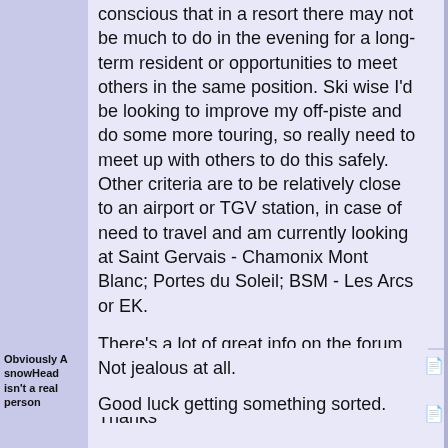conscious that in a resort there may not be much to do in the evening for a long-term resident or opportunities to meet others in the same position. Ski wise I'd be looking to improve my off-piste and do some more touring, so really need to meet up with others to do this safely. Other criteria are to be relatively close to an airport or TGV station, in case of need to travel and am currently looking at Saint Gervais - Chamonix Mont Blanc; Portes du Soleil; BSM - Les Arcs or EK.
There's a lot of great info on the forum which I've been reading but any advice on this specific situation would be great! Thanks
Obviously A snowHead isn't a real person
Not jealous at all.
Good luck getting something sorted.